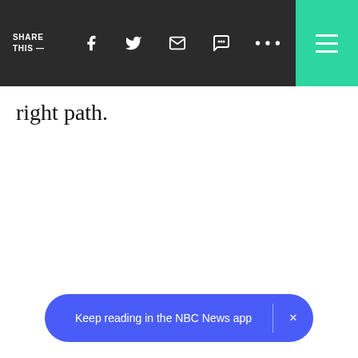SHARE THIS —
right path.
[Figure (screenshot): App download banner reading 'Keep reading in the NBC News app' with a close (×) button on a blue/purple pill-shaped background]